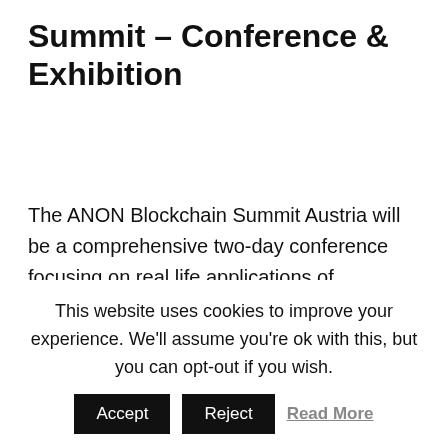Summit – Conference & Exhibition
The ANON Blockchain Summit Austria will be a comprehensive two-day conference focusing on real life applications of blockchain in business, government, banking & finance, healthcare as well as energy. Experienced speakers, keen investors and opinion leaders will examine the
This website uses cookies to improve your experience. We'll assume you're ok with this, but you can opt-out if you wish.
Accept   Reject   Read More